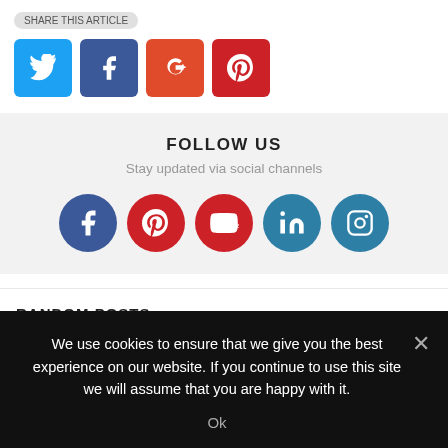[Figure (screenshot): Four social share buttons: Twitter (blue), Facebook (dark blue), Google+ (orange-red), Pinterest (red)]
FOLLOW US
Stay updated via social channels
[Figure (infographic): Five social media circular icons: Facebook (blue), Pinterest (red), YouTube (red), LinkedIn (blue), Instagram (teal)]
RANDOM POSTS
We use cookies to ensure that we give you the best experience on our website. If you continue to use this site we will assume that you are happy with it.
Ok